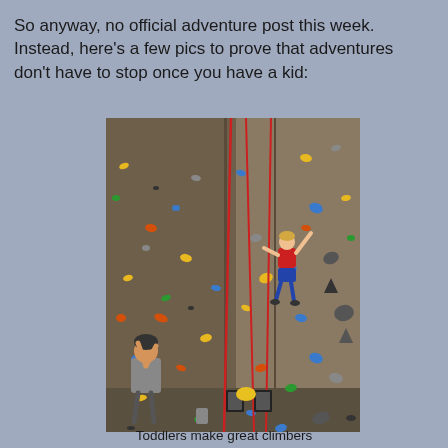So anyway, no official adventure post this week.  Instead, here's a few pics to prove that adventures don't have to stop once you have a kid:
[Figure (photo): Indoor climbing wall with colorful holds. A toddler/small child in a red shirt is high up on the wall, reaching upward. An adult man in a gray shirt stands at the bottom looking up, managing the rope belay. Red ropes hang from the top of the wall. Various colored climbing holds (blue, yellow, orange, green, gray) are visible throughout the wall.]
Toddlers make great climbers